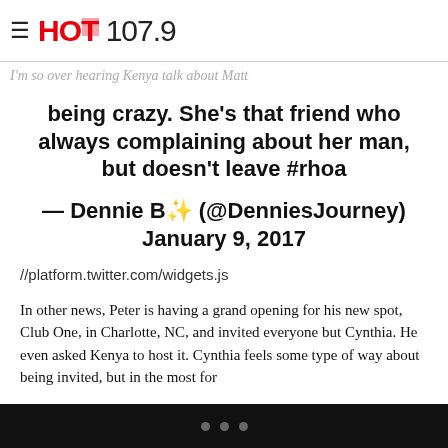HOT 107.9
I'm so over hearing Kenya talk about Matt being crazy. She's that friend who always complaining about her man, but doesn't leave #rhoa
— Dennie B✨ (@DenniesJourney) January 9, 2017
//platform.twitter.com/widgets.js
In other news, Peter is having a grand opening for his new spot, Club One, in Charlotte, NC, and invited everyone but Cynthia. He even asked Kenya to host it. Cynthia feels some type of way about being invited, but in the most for...